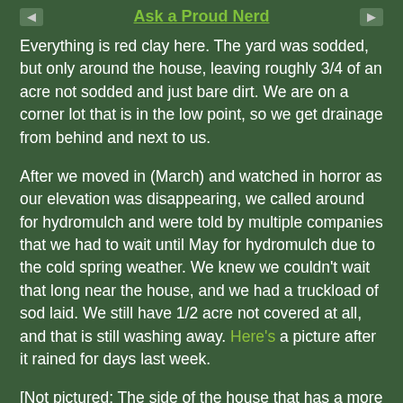Ask a Proud Nerd
Everything is red clay here. The yard was sodded, but only around the house, leaving roughly 3/4 of an acre not sodded and just bare dirt. We are on a corner lot that is in the low point, so we get drainage from behind and next to us.
After we moved in (March) and watched in horror as our elevation was disappearing, we called around for hydromulch and were told by multiple companies that we had to wait until May for hydromulch due to the cold spring weather. We knew we couldn't wait that long near the house, and we had a truckload of sod laid. We still have 1/2 acre not covered at all, and that is still washing away. Here's a picture after it rained for days last week.
[Not pictured: The side of the house that has a more drastic slope, but also has a drainage ditch.]
The elevation is 10-15[...]